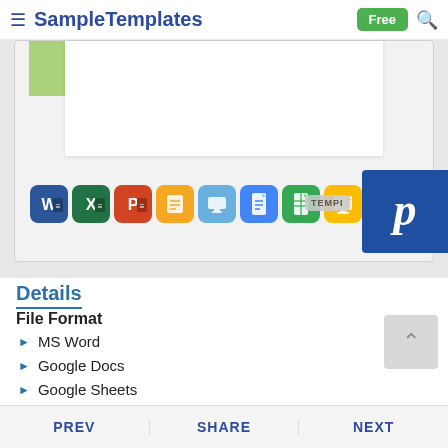SampleTemplates — Free
[Figure (screenshot): Preview area showing document template with application format icons: MS Word, Excel, PowerPoint, Pages, Keynote, Google Docs, Google Sheets, Google Slides, and a dark icon. Pinterest overlay icon visible at right.]
Details
File Format
MS Word
Google Docs
Google Sheets
Google Slides
PREV   SHARE   NEXT